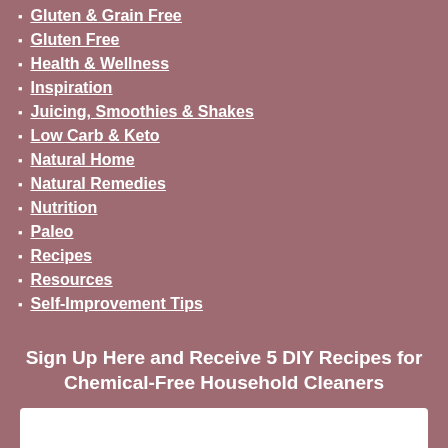Gluten & Grain Free
Gluten Free
Health & Wellness
Inspiration
Juicing, Smoothies & Shakes
Low Carb & Keto
Natural Home
Natural Remedies
Nutrition
Paleo
Recipes
Resources
Self-Improvement Tips
Sign Up Here and Receive 5 DIY Recipes for Chemical-Free Household Cleaners